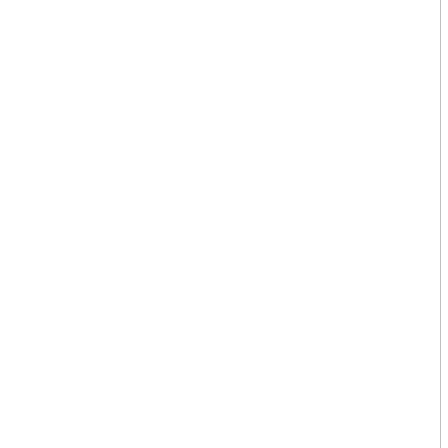es where the reused water will be pumped through m